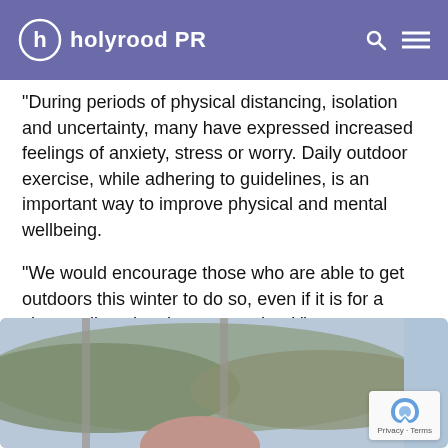holyrood PR
“During periods of physical distancing, isolation and uncertainty, many have expressed increased feelings of anxiety, stress or worry. Daily outdoor exercise, while adhering to guidelines, is an important way to improve physical and mental wellbeing.
“We would encourage those who are able to get outdoors this winter to do so, even if it is for a short walk to the shop or to school.”
[Figure (photo): Partial photo of a person in front of a window with hills/mountains in the background, with a reCAPTCHA badge in the lower right corner]